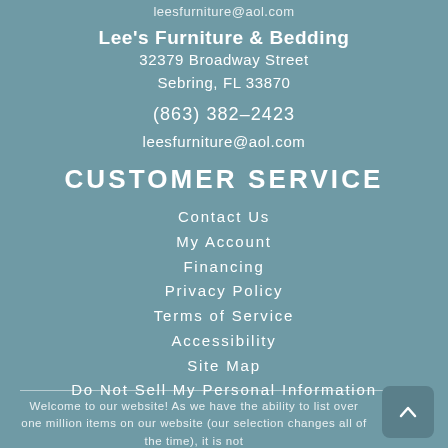leesfurniture@aol.com
Lee's Furniture & Bedding
32379 Broadway Street
Sebring, FL 33870
(863) 382-2423
leesfurniture@aol.com
CUSTOMER SERVICE
Contact Us
My Account
Financing
Privacy Policy
Terms of Service
Accessibility
Site Map
Do Not Sell My Personal Information
Welcome to our website! As we have the ability to list over one million items on our website (our selection changes all of the time), it is not